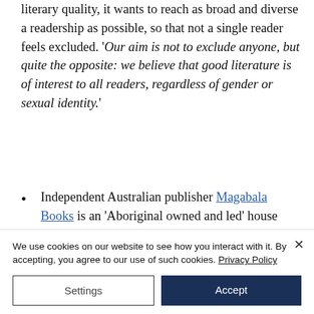literary quality, it wants to reach as broad and diverse a readership as possible, so that not a single reader feels excluded. 'Our aim is not to exclude anyone, but quite the opposite: we believe that good literature is of interest to all readers, regardless of gender or sexual identity.'
Independent Australian publisher Magabala Books is an 'Aboriginal owned and led' house that focuses
We use cookies on our website to see how you interact with it. By accepting, you agree to our use of such cookies. Privacy Policy
Settings
Accept